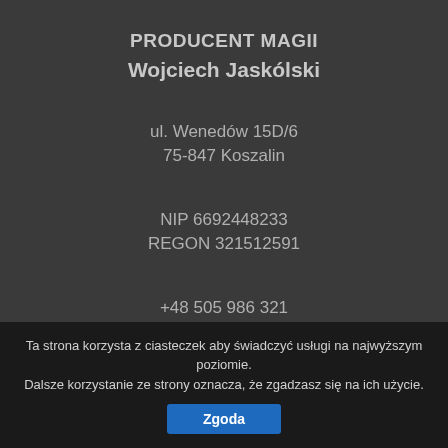PRODUCENT MAGII
Wojciech Jaskólski
ul. Wenedów 15D/6
75-847 Koszalin
NIP 6692448233
REGON 321512591
+48 505 986 321
Ta strona korzysta z ciasteczek aby świadczyć usługi na najwyższym poziomie. Dalsze korzystanie ze strony oznacza, że zgadzasz się na ich użycie.
Zgoda